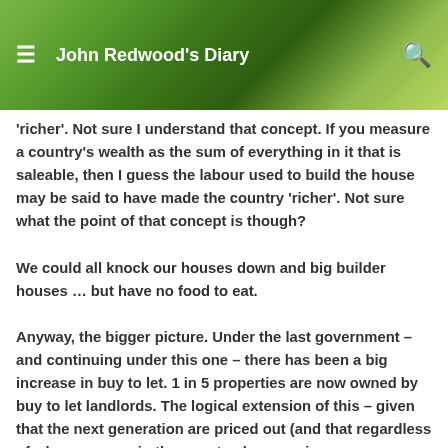John Redwood's Diary
'richer'. Not sure I understand that concept. If you measure a country's wealth as the sum of everything in it that is saleable, then I guess the labour used to build the house may be said to have made the country 'richer'. Not sure what the point of that concept is though?
We could all knock our houses down and big builder houses … but have no food to eat.
Anyway, the bigger picture. Under the last government – and continuing under this one – there has been a big increase in buy to let. 1 in 5 properties are now owned by buy to let landlords. The logical extension of this – given that the next generation are priced out (and that regardless of where you are in the country, house prices are historically high compared